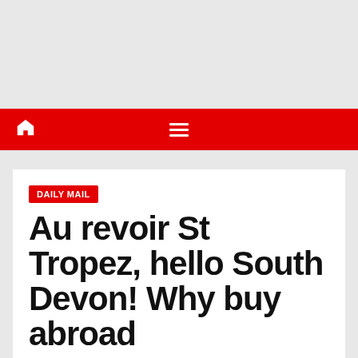Navigation bar with home icon and menu icon
DAILY MAIL
Au revoir St Tropez, hello South Devon! Why buy abroad
By UK Home Search